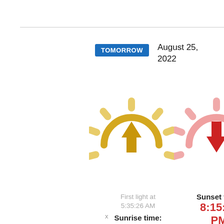TOMORROW
August 25, 2022
[Figure (illustration): Sunrise icon: a golden semicircle sun with rays and an upward arrow below it]
[Figure (illustration): Sunset icon: a pink/red semicircle sun with rays and a downward red arrow below it]
First light at 5:35:26 AM
Sunrise time: 6:09:46
Sunset time: 8:15:34 PM
Last light at